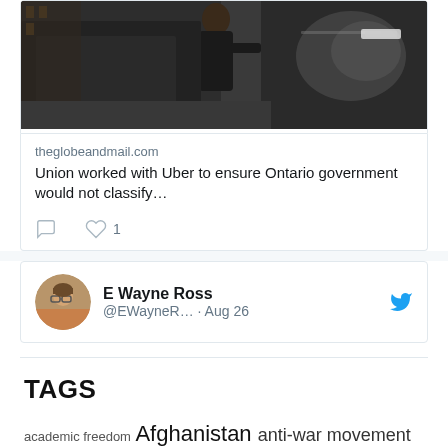[Figure (photo): Photo of a woman getting into a dark car on a city street, embedded in a tweet card]
theglobeandmail.com
Union worked with Uber to ensure Ontario government would not classify…
comment icon, heart icon 1
E Wayne Ross @EWayneR… · Aug 26
TAGS
academic freedom Afghanistan anti-war movement books British Columbia capitalism CFR…